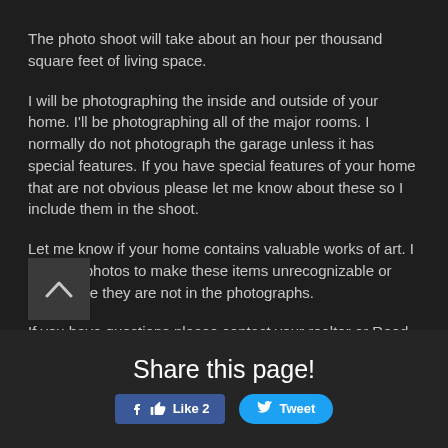The photo shoot will take about an hour per thousand square feet of living space.
I will be photographing the inside and outside of your home. I'll be photographing all of the major rooms. I normally do not photograph the garage unless it has special features. If you have special features of your home that are not obvious please let me know about these so I include them in the shoot.
Let me know if your home contains valuable works of art. I can edit photos to make these items unrecognizable or make sure they are not in the photographs.
If you have questions please contact your realtor or Reed Radcliffe @ 314.276.7481
Share this page!
Like 2
Tweet